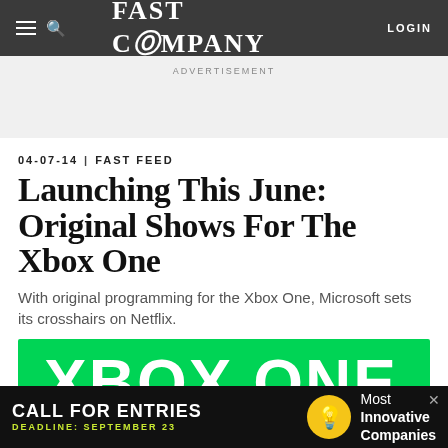FAST COMPANY   LOGIN
ADVERTISEMENT
04-07-14  |  FAST FEED
Launching This June: Original Shows For The Xbox One
With original programming for the Xbox One, Microsoft sets its crosshairs on Netflix.
[Figure (photo): Xbox One logo in white text on bright green background]
[Figure (infographic): Advertisement banner: CALL FOR ENTRIES — DEADLINE: SEPTEMBER 23 — Most Innovative Companies]